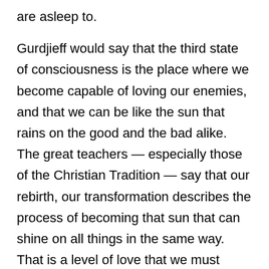are asleep to.
Gurdjieff would say that the third state of consciousness is the place where we become capable of loving our enemies, and that we can be like the sun that rains on the good and the bad alike. The great teachers — especially those of the Christian Tradition — say that our rebirth, our transformation describes the process of becoming that sun that can shine on all things in the same way. That is a level of love that we must admit we are not capable of in our present condition. The reason we are not capable of implementing the teachings of Christ or of the Buddha is because we live in a consciousness of multiplicity where the good and the not so good commingle. Our I's are not merely an interesting phenomenon to observe, but reflect a level of being that keeps us from what we are truly meant to become.